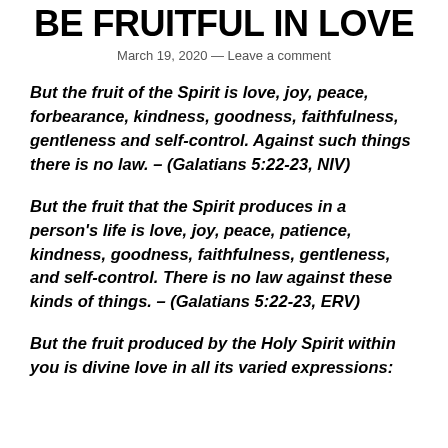BE FRUITFUL IN LOVE
March 19, 2020 — Leave a comment
But the fruit of the Spirit is love, joy, peace, forbearance, kindness, goodness, faithfulness, gentleness and self-control. Against such things there is no law. – (Galatians 5:22-23, NIV)
But the fruit that the Spirit produces in a person's life is love, joy, peace, patience, kindness, goodness, faithfulness, gentleness, and self-control. There is no law against these kinds of things. – (Galatians 5:22-23, ERV)
But the fruit produced by the Holy Spirit within you is divine love in all its varied expressions: